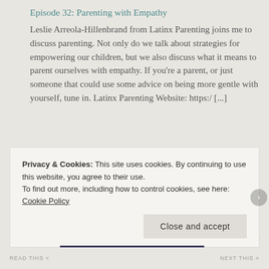Episode 32: Parenting with Empathy
Leslie Arreola-Hillenbrand from Latinx Parenting joins me to discuss parenting. Not only do we talk about strategies for empowering our children, but we also discuss what it means to parent ourselves with empathy. If you're a parent, or just someone that could use some advice on being more gentle with yourself, tune in. Latinx Parenting Website: https:/ [...]
RECENT POSTS
A Labor of Love: Re-visiting My Inner Child
Privacy & Cookies: This site uses cookies. By continuing to use this website, you agree to their use.
To find out more, including how to control cookies, see here: Cookie Policy
Close and accept